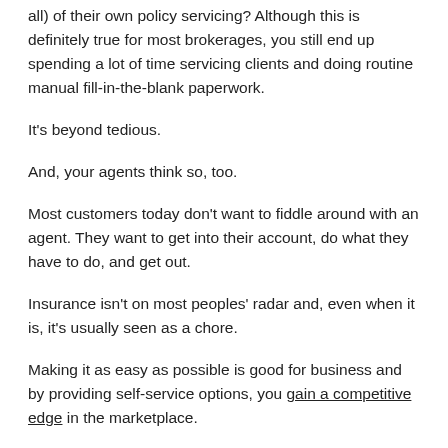all) of their own policy servicing? Although this is definitely true for most brokerages, you still end up spending a lot of time servicing clients and doing routine manual fill-in-the-blank paperwork.
It's beyond tedious.
And, your agents think so, too.
Most customers today don't want to fiddle around with an agent. They want to get into their account, do what they have to do, and get out.
Insurance isn't on most peoples' radar and, even when it is, it's usually seen as a chore.
Making it as easy as possible is good for business and by providing self-service options, you gain a competitive edge in the marketplace.
Some of the more tech-savvy insurance brokerages, and even insurance companies, are already on top of this. They